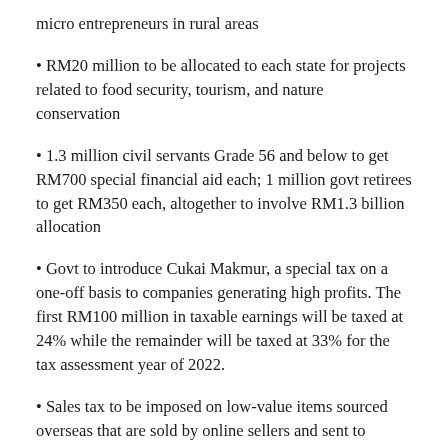micro entrepreneurs in rural areas
• RM20 million to be allocated to each state for projects related to food security, tourism, and nature conservation
• 1.3 million civil servants Grade 56 and below to get RM700 special financial aid each; 1 million govt retirees to get RM350 each, altogether to involve RM1.3 billion allocation
• Govt to introduce Cukai Makmur, a special tax on a one-off basis to companies generating high profits. The first RM100 million in taxable earnings will be taxed at 24% while the remainder will be taxed at 33% for the tax assessment year of 2022.
• Sales tax to be imposed on low-value items sourced overseas that are sold by online sellers and sent to Malaysia via air courier